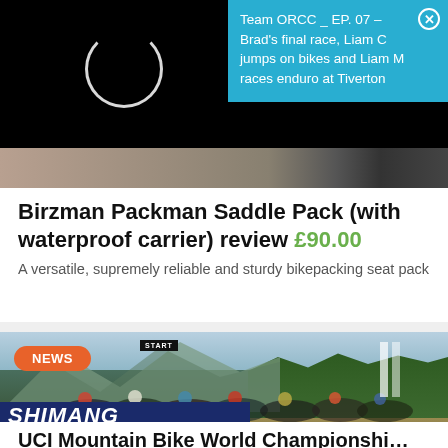[Figure (screenshot): Black loading screen with white circle loader spinner on the left, and a cyan/blue notification popup on the right showing Team ORCC podcast episode info with a close button]
Team ORCC _ EP. 07 – Brad's final race, Liam C jumps on bikes and Liam M races enduro at Tiverton
[Figure (photo): Close-up of wooden surface and dark metal bicycle component]
Birzman Packman Saddle Pack (with waterproof carrier) review £90.00
A versatile, supremely reliable and sturdy bikepacking seat pack
[Figure (photo): Mountain bike race start at UCI World Championships, riders bunched together at the start line with SHIMANO banner, mountains and forest in background, NEWS badge overlay]
UCI Mountain Bike World Championships